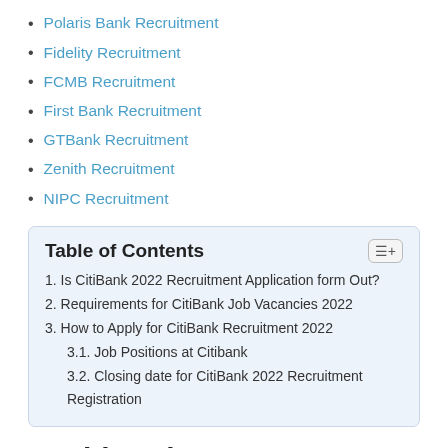Polaris Bank Recruitment
Fidelity Recruitment
FCMB Recruitment
First Bank Recruitment
GTBank Recruitment
Zenith Recruitment
NIPC Recruitment
| 1. Is CitiBank 2022 Recruitment Application form Out? |
| 2. Requirements for CitiBank Job Vacancies 2022 |
| 3. How to Apply for CitiBank Recruitment 2022 |
| 3.1. Job Positions at Citibank |
| 3.2. Closing date for CitiBank 2022 Recruitment Registration |
Is CitiBank 2022